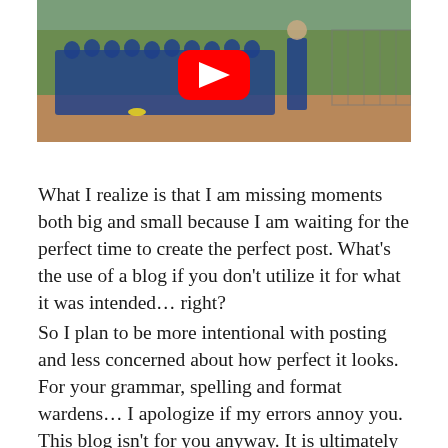[Figure (screenshot): A YouTube video thumbnail showing a group of children in blue shirts on a baseball/softball field with a coach or adult nearby. A red YouTube play button is overlaid in the center.]
What I realize is that I am missing moments both big and small because I am waiting for the perfect time to create the perfect post.  What's the use of a blog if you don't utilize it for what it was intended… right?
So I plan to be more intentional with posting and less concerned about how perfect it looks. For your grammar, spelling and format wardens… I apologize if my errors annoy you.  This blog isn't for you anyway.  It is ultimately a journal of memories and moments that capture the beauty, struggles and human moments of my life and the